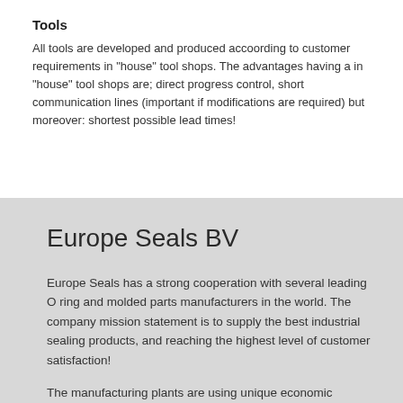Tools
All tools are developed and produced accoording to customer requirements in "house" tool shops. The advantages having a in "house" tool shops are; direct progress control, short communication lines (important if modifications are required) but moreover: shortest possible lead times!
Europe Seals BV
Europe Seals has a strong cooperation with several leading O ring and molded parts manufacturers in the world. The company mission statement is to supply the best industrial sealing products, and reaching the highest level of customer satisfaction!
The manufacturing plants are using unique economic process technologies to produce high quality products accoording to U.S.A. and European rules, specifications, standards and approvals.